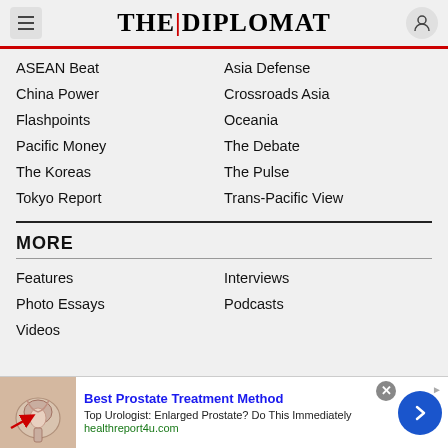THE | DIPLOMAT
ASEAN Beat
Asia Defense
China Power
Crossroads Asia
Flashpoints
Oceania
Pacific Money
The Debate
The Koreas
The Pulse
Tokyo Report
Trans-Pacific View
MORE
Features
Interviews
Photo Essays
Podcasts
Videos
[Figure (infographic): Advertisement banner: Best Prostate Treatment Method - medical illustration of prostate, blue CTA arrow button, healthreport4u.com]